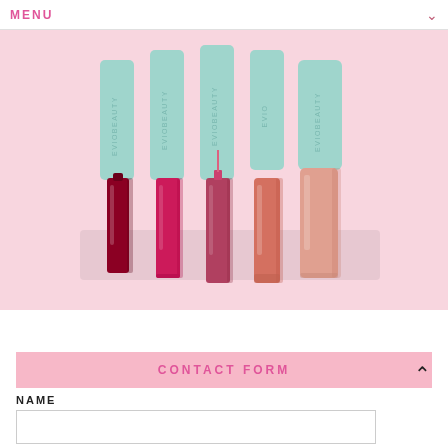MENU
[Figure (photo): Five EVIO Beauty lip gloss tubes in shades ranging from deep burgundy to light peach/nude, arranged on a pink background with light blue caps labeled EVIOBEAUTY]
CONTACT FORM
NAME